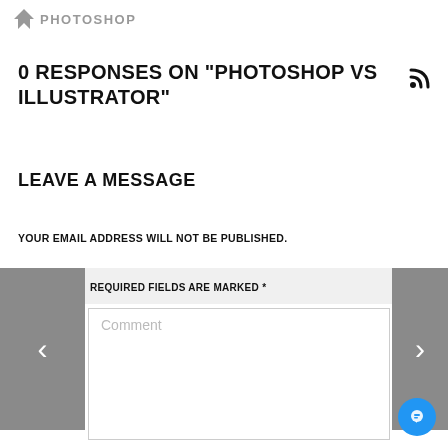PHOTOSHOP
0 RESPONSES ON "PHOTOSHOP VS ILLUSTRATOR"
LEAVE A MESSAGE
YOUR EMAIL ADDRESS WILL NOT BE PUBLISHED.
REQUIRED FIELDS ARE MARKED *
Comment